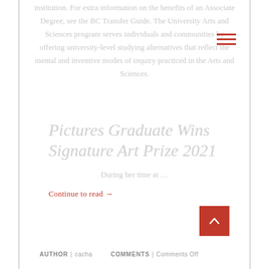institution. For extra information on the benefits of an Associate Degree, see the BC Transfer Guide. The University Arts and Sciences program serves individuals and communities by offering university-level studying alternatives that reflect the mental and inventive modes of inquiry practiced in the Arts and Sciences.
Pictures Graduate Wins Signature Art Prize 2021
During her time at …
Continue to read →
AUTHOR | cacha   COMMENTS | Comments Off